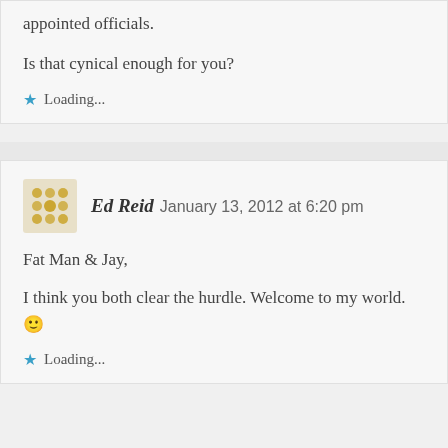appointed officials.
Is that cynical enough for you?
Loading...
Ed Reid   January 13, 2012 at 6:20 pm
Fat Man & Jay,
I think you both clear the hurdle. Welcome to my world. 🙂
Loading...